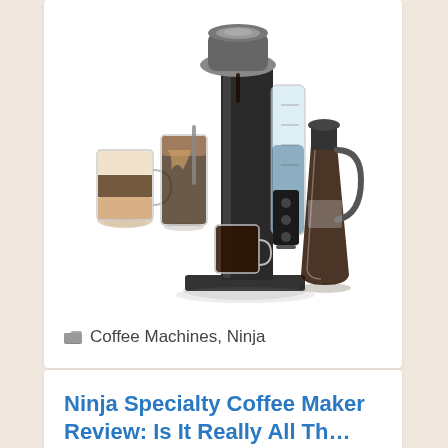[Figure (photo): Ninja specialty coffee maker machine with multiple coffee drinks - iced coffee, latte, and black coffee in glasses, plus a glass carafe, all on white background]
Coffee Machines, Ninja
Ninja Specialty Coffee Maker Review: Is It Really All Th…